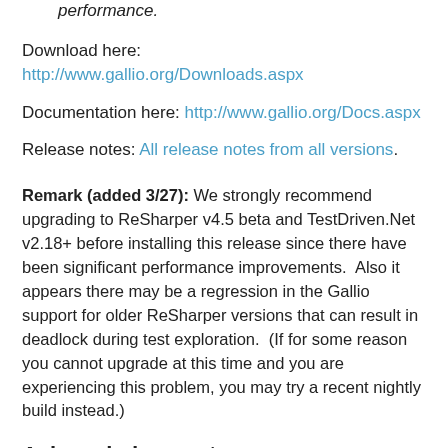performance.
Download here: http://www.gallio.org/Downloads.aspx
Documentation here: http://www.gallio.org/Docs.aspx
Release notes: All release notes from all versions.
Remark (added 3/27): We strongly recommend upgrading to ReSharper v4.5 beta and TestDriven.Net v2.18+ before installing this release since there have been significant performance improvements.  Also it appears there may be a regression in the Gallio support for older ReSharper versions that can result in deadlock during test exploration.  (If for some reason you cannot upgrade at this time and you are experiencing this problem, you may try a recent nightly build instead.)
Acknowledgements
In this release I would like to especially acknowledge Graham Hay for his work enhancing Icarus with new features